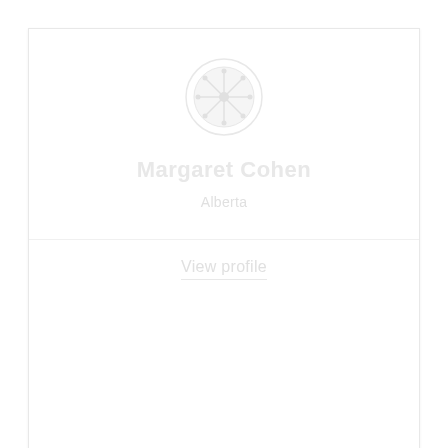[Figure (illustration): Circular avatar/profile icon with decorative snowflake or star pattern in light gray]
Margaret Cohen
Alberta
View profile